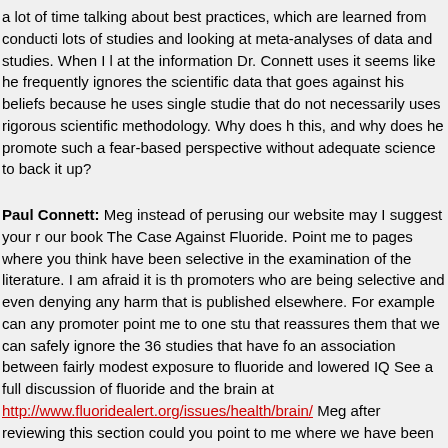a lot of time talking about best practices, which are learned from conducting lots of studies and looking at meta-analyses of data and studies. When I look at the information Dr. Connett uses it seems like he frequently ignores the scientific data that goes against his beliefs because he uses single studies that do not necessarily uses rigorous scientific methodology. Why does he do this, and why does he promote such a fear-based perspective without adequate science to back it up?
Paul Connett: Meg instead of perusing our website may I suggest your read our book The Case Against Fluoride. Point me to pages where you think we have been selective in the examination of the literature. I am afraid it is the promoters who are being selective and even denying any harm that is published elsewhere. For example can any promoter point me to one study that reassures them that we can safely ignore the 36 studies that have found an association between fairly modest exposure to fluoride and lowered IQ. See a full discussion of fluoride and the brain at http://www.fluoridealert.org/issues/health/brain/ Meg after reviewing this section could you point to me where we have been selective in this review of the literature on the brain?